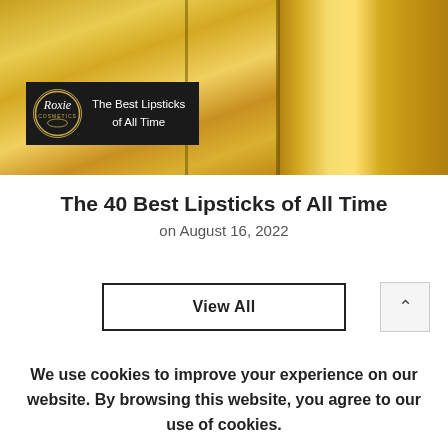[Figure (photo): Hero image of golden lipstick tubes with a black overlay banner showing the Roxie Cosmetics logo and text 'The Best Lipsticks of All Time']
The 40 Best Lipsticks of All Time
on August 16, 2022
View All
We use cookies to improve your experience on our website. By browsing this website, you agree to our use of cookies.
PRIVACY POLICY
ACCEPT